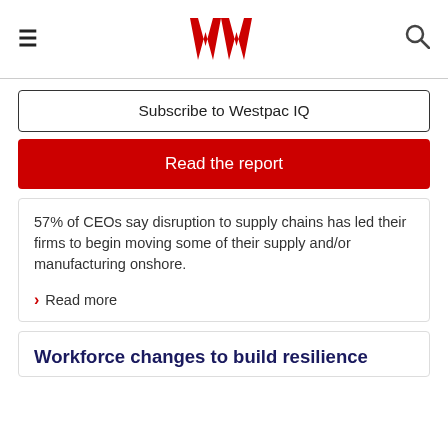Westpac IQ header with hamburger menu, Westpac logo, and search icon
Subscribe to Westpac IQ
Read the report
57% of CEOs say disruption to supply chains has led their firms to begin moving some of their supply and/or manufacturing onshore.
Read more
Workforce changes to build resilience